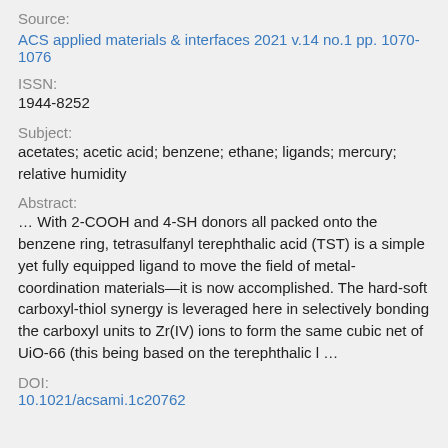Source:
ACS applied materials & interfaces 2021 v.14 no.1 pp. 1070-1076
ISSN:
1944-8252
Subject:
acetates; acetic acid; benzene; ethane; ligands; mercury; relative humidity
Abstract:
… With 2-COOH and 4-SH donors all packed onto the benzene ring, tetrasulfanyl terephthalic acid (TST) is a simple yet fully equipped ligand to move the field of metal-coordination materials—it is now accomplished. The hard-soft carboxyl-thiol synergy is leveraged here in selectively bonding the carboxyl units to Zr(IV) ions to form the same cubic net of UiO-66 (this being based on the terephthalic l …
DOI:
10.1021/acsami.1c20762